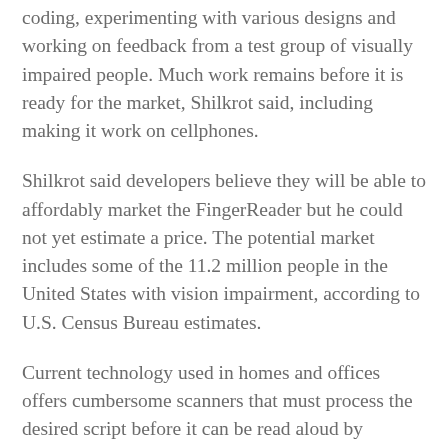coding, experimenting with various designs and working on feedback from a test group of visually impaired people. Much work remains before it is ready for the market, Shilkrot said, including making it work on cellphones.
Shilkrot said developers believe they will be able to affordably market the FingerReader but he could not yet estimate a price. The potential market includes some of the 11.2 million people in the United States with vision impairment, according to U.S. Census Bureau estimates.
Current technology used in homes and offices offers cumbersome scanners that must process the desired script before it can be read aloud by character-recognition software installed on a computer or smartphone, Shilkrot said. The FingerReader would not replace Braille – the system of raised dots that form words, interpreted by touch. Instead, Shilkrot said, the new device would enable users to access a vast number of books and other materials that are not currently available in Braille.